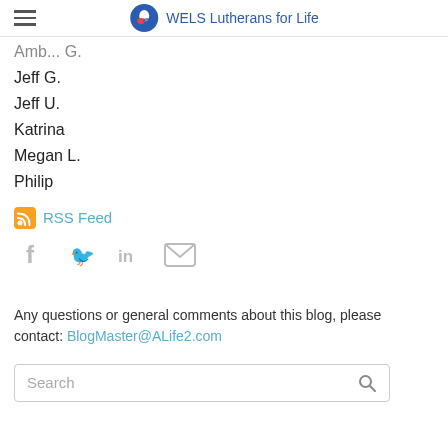WELS Lutherans for Life
Amb... G.
Jeff G.
Jeff U.
Katrina
Megan L.
Philip
RSS Feed
[Figure (infographic): Social media icons: Facebook, Twitter, LinkedIn, Email]
Any questions or general comments about this blog, please contact: BlogMaster@ALife2.com
Search